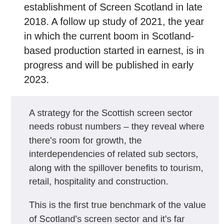establishment of Screen Scotland in late 2018. A follow up study of 2021, the year in which the current boom in Scotland-based production started in earnest, is in progress and will be published in early 2023.
A strategy for the Scottish screen sector needs robust numbers – they reveal where there's room for growth, the interdependencies of related sub sectors, along with the spillover benefits to tourism, retail, hospitality and construction.
This is the first true benchmark of the value of Scotland's screen sector and it's far larger than has been captured by previous studies. Better still, we see the potential to